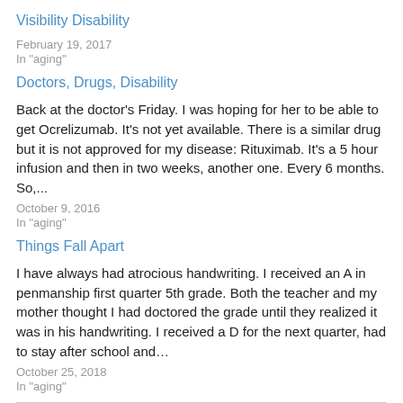Visibility Disability
February 19, 2017
In "aging"
Doctors, Drugs, Disability
Back at the doctor's Friday.  I was hoping for her to be able to get Ocrelizumab.  It's not yet available.    There is a similar drug but it is not approved for my disease: Rituximab. It's a 5 hour infusion and then in two weeks, another one.  Every 6 months.  So,...
October 9, 2016
In "aging"
Things Fall Apart
I have always had atrocious handwriting.  I received an A in penmanship first quarter 5th grade.  Both the teacher and my mother thought I had doctored the grade until they realized it was in his handwriting.  I received a D for the next quarter, had to stay after school and…
October 25, 2018
In "aging"